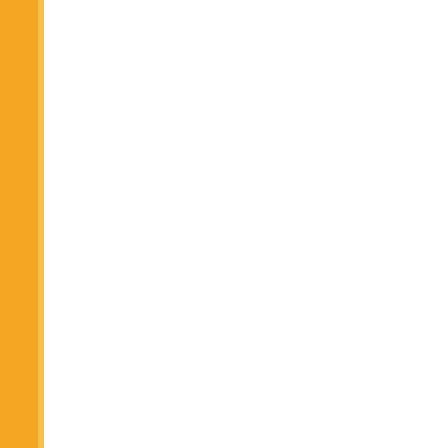| No. | Date | Title |
| --- | --- | --- |
| 263. | 04/12/2019 | M.A. (Hindi) |
| 264. | 03/12/2019 | Schedule of |
| 265. | 21/11/2019 | Invitation for the session 2 |
| 266. | 20/11/2019 | Proforma for Semester Ex |
| 267. | 15/11/2019 | CHANGEs & (General) - 1 2019) |
| 268. | 23/10/2019 | Special Cha of all UG PG |
| 269. | 04/10/2019 | Implementat Financing Co Regional cer |
| 270. | 28/09/2019 | Last date of 17.10.2019 i |
| 271. | 19/09/2019 | SPECIAL CH (SEPTEMBE |
| 272. | 31/08/2019 | M.Phil./Ph.D |
| 273. | 30/08/2019 | Special char UG PG cour the whole co |